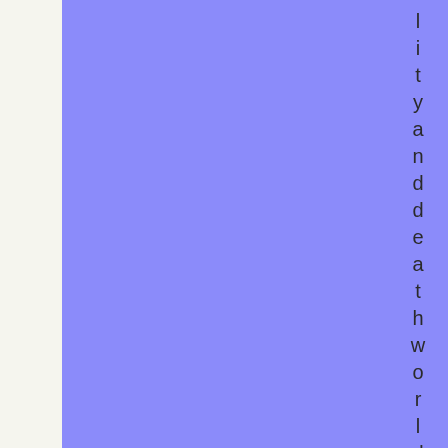[Figure (other): Large periwinkle/cornflower blue rectangle covering most of the left and center portion of the page]
lityanddeathworldwide